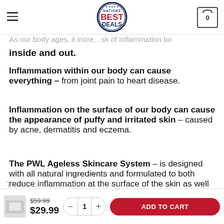Nations Best Deals — navigation header with logo and cart
As our body ages, it increases the risk of inflammation both inside and out.
Inflammation within our body can cause everything – from joint pain to heart disease.
Inflammation on the surface of our body can cause the appearance of puffy and irritated skin – caused by acne, dermatitis and eczema.
The PWL Ageless Skincare System – is designed with all natural ingredients and formulated to both reduce inflammation at the surface of the skin as well as in the dermatitis layers that lie beneath.
$59.99  $29.99  - 1 +  ADD TO CART